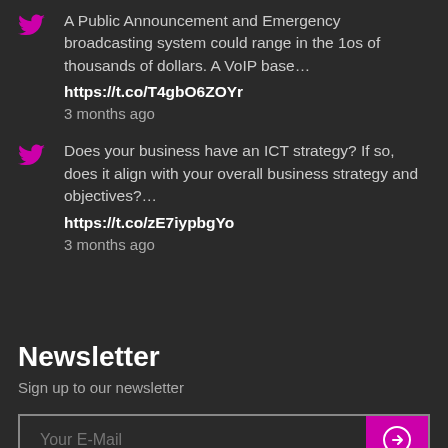A Public Announcement and Emergency broadcasting system could range in the 1os of thousands of dollars. A VoIP base…
https://t.co/T4gbO6ZOYr
3 months ago
Does your business have an ICT strategy? If so, does it align with your overall business strategy and objectives?…
https://t.co/zE7iypbgYo
3 months ago
Newsletter
Sign up to our newsletter
Your E-Mail